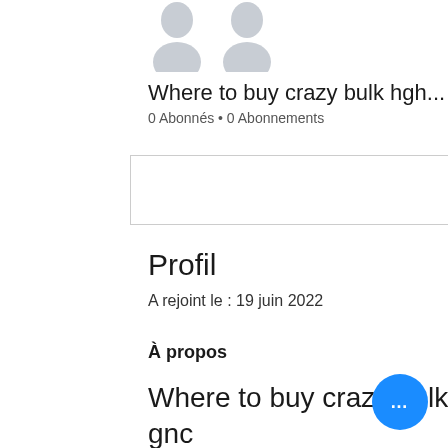[Figure (illustration): Two grey placeholder avatar/profile silhouettes side by side at the top of the page]
Where to buy crazy bulk hgh...
0 Abonnés • 0 Abonnements
[Figure (other): Dropdown/select box UI element with chevron down arrow]
Profil
A rejoint le : 19 juin 2022
À propos
Where to buy crazy bulk hgh x2, crazy bulk hgh-x2 gnc